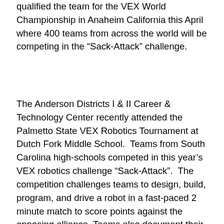qualified the team for the VEX World Championship in Anaheim California this April where 400 teams from across the world will be competing in the “Sack-Attack” challenge.
The Anderson Districts I & II Career & Technology Center recently attended the Palmetto State VEX Robotics Tournament at Dutch Fork Middle School.  Teams from South Carolina high-schools competed in this year’s VEX robotics challenge “Sack-Attack”.  The competition challenges teams to design, build, program, and drive a robot in a fast-paced 2 minute match to score points against the opposing alliance.  Teams also document their build process, teamwork, design modifications, and community outreach.
The Anderson Career & Technology Center’s rookie VEX team #415-HELIOS was awarded the Excellence Award by the